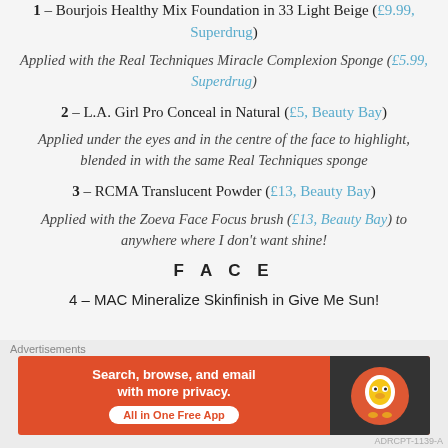1 – Bourjois Healthy Mix Foundation in 33 Light Beige (£9.99, Superdrug)
Applied with the Real Techniques Miracle Complexion Sponge (£5.99, Superdrug)
2 – L.A. Girl Pro Conceal in Natural (£5, Beauty Bay)
Applied under the eyes and in the centre of the face to highlight, blended in with the same Real Techniques sponge
3 – RCMA Translucent Powder (£13, Beauty Bay)
Applied with the Zoeva Face Focus brush (£13, Beauty Bay) to anywhere where I don't want shine!
FACE
4 – MAC Mineralize Skinfinish in Give Me Sun!
[Figure (other): DuckDuckGo advertisement banner: Search, browse, and email with more privacy. All in One Free App.]